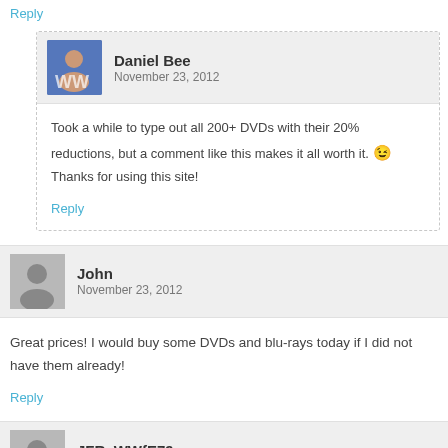Reply
Daniel Bee
November 23, 2012
Took a while to type out all 200+ DVDs with their 20% reductions, but a comment like this makes it all worth it. 😉 Thanks for using this site!
Reply
John
November 23, 2012
Great prices! I would buy some DVDs and blu-rays today if I did not have them already!
Reply
JFR_WWfE79
November 23, 2012